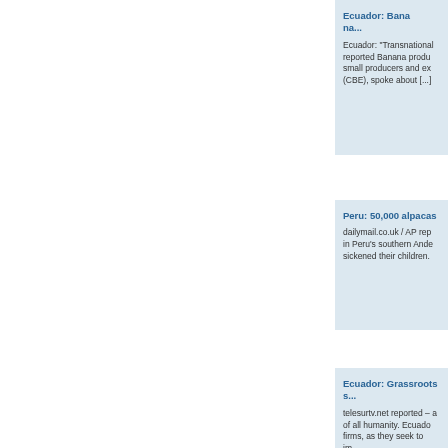Ecuador: Banan...
Ecuador: "Transnational..." reported Banana produ... small producers and exp... (CBE), spoke about [...]
Peru: 50,000 alpacas
dailymail.co.uk / AP repo... in Peru's southern Ande... sickened their children.
Ecuador: Grassroots s...
telesurtv.net reported – a... of all humanity. Ecuado... firms, as they seek to im...
Venezuela at risk of f...
miamidiario.com reporte... Industry Food ensures t... international matters, af...